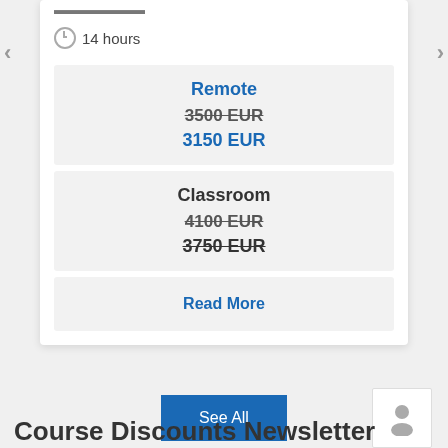14 hours
| Remote | 3500 EUR (strikethrough) | 3150 EUR |
| Classroom | 4100 EUR (strikethrough) | 3750 EUR (strikethrough) |
Read More
See All
Course Discounts Newsletter